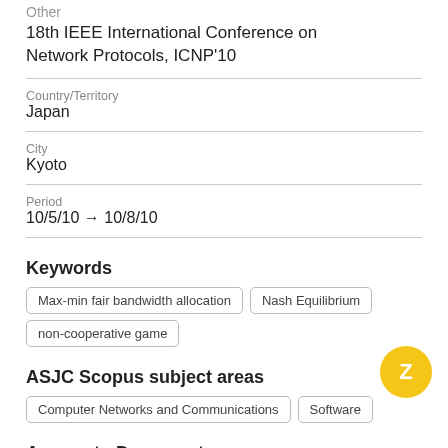Other
18th IEEE International Conference on Network Protocols, ICNP'10
Country/Territory
Japan
City
Kyoto
Period
10/5/10 → 10/8/10
Keywords
Max-min fair bandwidth allocation
Nash Equilibrium
non-cooperative game
ASJC Scopus subject areas
Computer Networks and Communications
Software
Access to Document